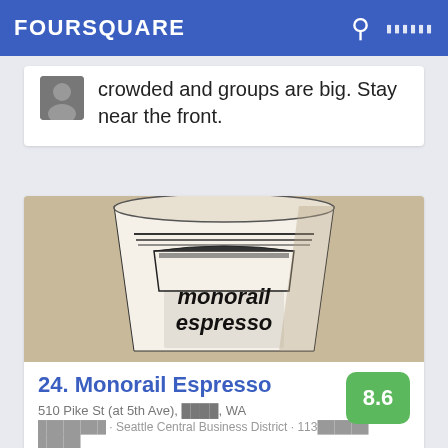FOURSQUARE
crowded and groups are big. Stay near the front.
[Figure (photo): Close-up photo of a Monorail Espresso paper coffee cup with illustrated logo]
24. Monorail Espresso
510 Pike St (at 5th Ave), ████, WA
████████ · Seattle Central Business District · 113██████ █████
Ryan: Great hole in the wall